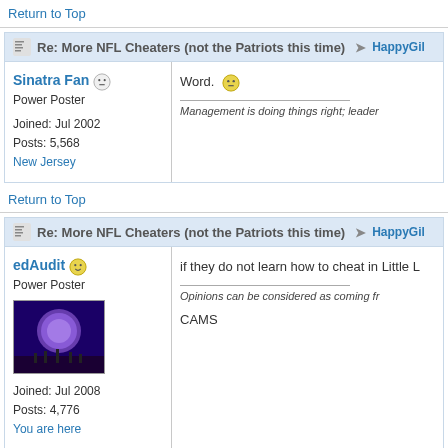Return to Top
Re: More NFL Cheaters (not the Patriots this time) → HappyGil
Sinatra Fan 😐
Power Poster
Joined: Jul 2002
Posts: 5,568
New Jersey
Word. 😐

Management is doing things right; leader
Return to Top
Re: More NFL Cheaters (not the Patriots this time) → HappyGil
edAudit 😊
Power Poster
Joined: Jul 2008
Posts: 4,776
You are here
if they do not learn how to cheat in Little L

Opinions can be considered as coming fr

CAMS
Return to Top